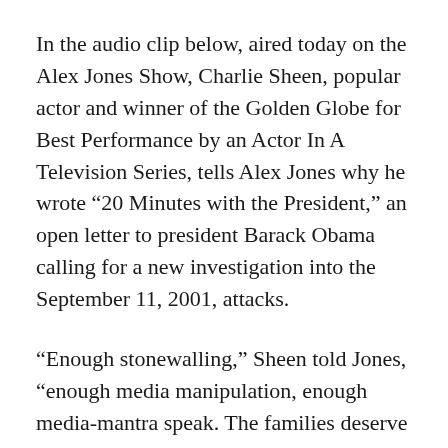In the audio clip below, aired today on the Alex Jones Show, Charlie Sheen, popular actor and winner of the Golden Globe for Best Performance by an Actor In A Television Series, tells Alex Jones why he wrote “20 Minutes with the President,” an open letter to president Barack Obama calling for a new investigation into the September 11, 2001, attacks.
“Enough stonewalling,” Sheen told Jones, “enough media manipulation, enough media-mantra speak. The families deserve better, America deserves better.”
Charlie said he cannot sit idly by and hope that a new investigation will “fall out of the heavens